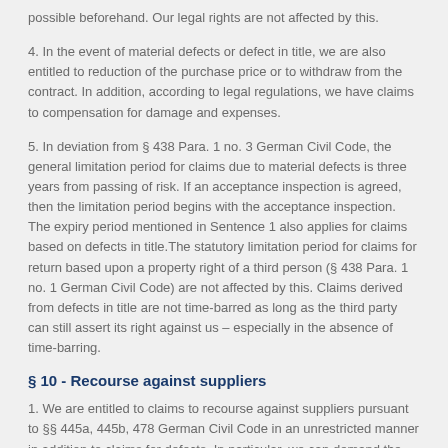possible beforehand. Our legal rights are not affected by this.
4. In the event of material defects or defect in title, we are also entitled to reduction of the purchase price or to withdraw from the contract. In addition, according to legal regulations, we have claims to compensation for damage and expenses.
5. In deviation from § 438 Para. 1 no. 3 German Civil Code, the general limitation period for claims due to material defects is three years from passing of risk. If an acceptance inspection is agreed, then the limitation period begins with the acceptance inspection. The expiry period mentioned in Sentence 1 also applies for claims based on defects in title.The statutory limitation period for claims for return based upon a property right of a third person (§ 438 Para. 1 no. 1 German Civil Code) are not affected by this. Claims derived from defects in title are not time-barred as long as the third party can still assert its right against us – especially in the absence of time-barring.
§ 10 - Recourse against suppliers
1. We are entitled to claims to recourse against suppliers pursuant to §§ 445a, 445b, 478 German Civil Code in an unrestricted manner in addition to claims for defects. In particular, we can demand the